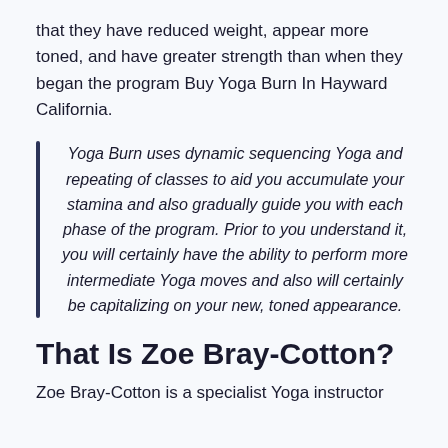that they have reduced weight, appear more toned, and have greater strength than when they began the program Buy Yoga Burn In Hayward California.
Yoga Burn uses dynamic sequencing Yoga and repeating of classes to aid you accumulate your stamina and also gradually guide you with each phase of the program. Prior to you understand it, you will certainly have the ability to perform more intermediate Yoga moves and also will certainly be capitalizing on your new, toned appearance.
That Is Zoe Bray-Cotton?
Zoe Bray-Cotton is a specialist Yoga instructor